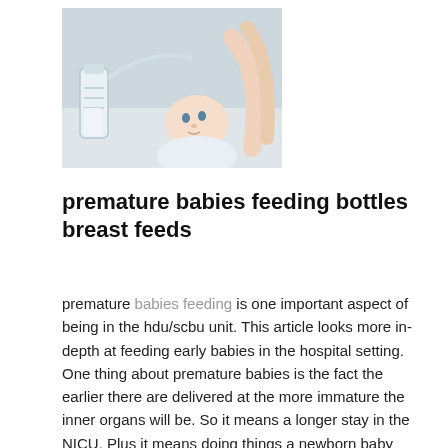[Figure (photo): A baby lying down next to a breast pump bottle, with a woman (mother) visible in the background, suggesting breastfeeding or pumping milk for a premature baby.]
premature babies feeding bottles breast feeds
premature babies feeding is one important aspect of being in the hdu/scbu unit. This article looks more in-depth at feeding early babies in the hospital setting. One thing about premature babies is the fact the earlier there are delivered at the more immature the inner organs will be. So it means a longer stay in the NICU. Plus it means doing things a newborn baby would do will come much later on.